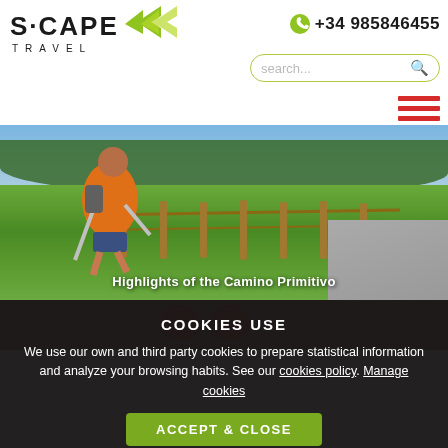[Figure (logo): S·CAPE TRAVEL logo with green arrow chevrons and phone number +34985846455]
[Figure (screenshot): Search bar with rounded border and search icon]
[Figure (infographic): Red hamburger menu icon with three horizontal lines]
[Figure (photo): Photo of a hiker in orange jacket with trekking poles walking along a fenced path through green fields with sheep]
Highlights of the Camino Primitivo
[Figure (photo): Partial photo showing red-clothed figure, partially obscured by cookie banner]
COOKIES USE
We use our own and third party cookies to prepare statistical information and analyze your browsing habits. See our cookies policy. Manage cookies
ACCEPT & CLOSE